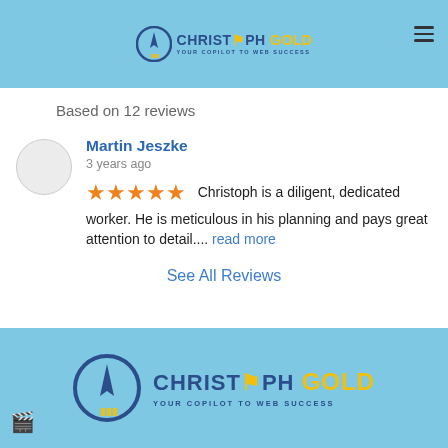[Figure (logo): Christoph Gold logo - rocket/jet icon with text 'CHRISTOPH GOLD - YOUR COPILOT TO WEB SUCCESS' in top navigation bar]
Based on 12 reviews
Martin Jeszke
3 years ago
★★★★★ Christoph is a diligent, dedicated worker. He is meticulous in his planning and pays great attention to detail.... read more
See All Reviews
[Figure (logo): Christoph Gold logo - large version with jet/rocket icon and text 'CHRISTOPH GOLD - YOUR COPILOT TO WEB SUCCESS' in footer area]